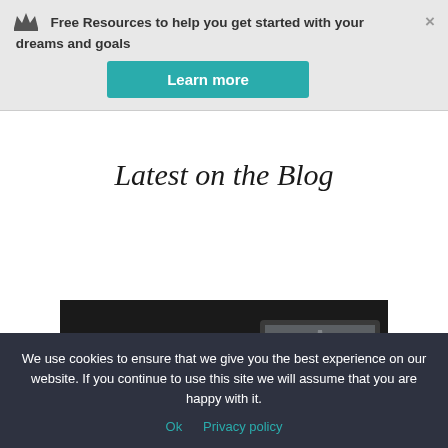Free Resources to help you get started with your dreams and goals
Learn more
Latest on the Blog
[Figure (photo): Dark background photo showing hands near a glowing phone with Eiffel Tower image on a laptop screen]
We use cookies to ensure that we give you the best experience on our website. If you continue to use this site we will assume that you are happy with it.
Ok   Privacy policy